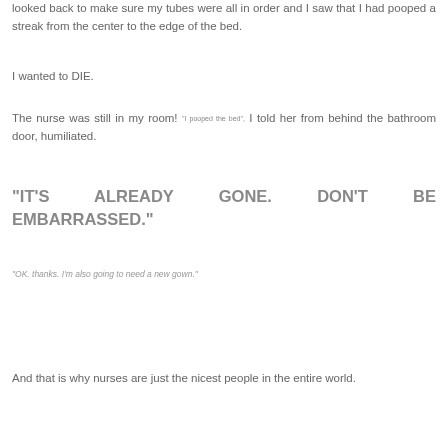looked back to make sure my tubes were all in order and I saw that I had pooped a streak from the center to the edge of the bed.
I wanted to DIE.
The nurse was still in my room! "I pooped the bed", I told her from behind the bathroom door, humiliated.
"IT'S ALREADY GONE. DON'T BE EMBARRASSED."
"OK. thanks. I'm also going to need a new gown."
And that is why nurses are just the nicest people in the entire world.